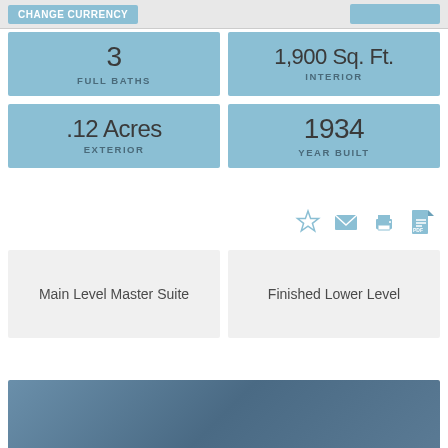CHANGE CURRENCY
3
FULL BATHS
1,900 Sq. Ft.
INTERIOR
.12 Acres
EXTERIOR
1934
YEAR BUILT
[Figure (infographic): Action icons: star (favorite), envelope (email), printer (print), PDF icon]
Main Level Master Suite
Finished Lower Level
[Figure (photo): Blue-gray gradient photo bar at the bottom of the page]